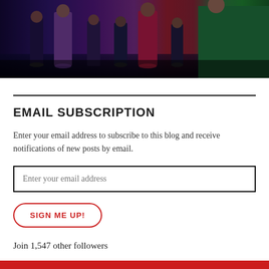[Figure (photo): Partial photo of performers on a stage wearing formal/evening wear dresses in purple, red, and green colors, on a dark blue-lit stage.]
EMAIL SUBSCRIPTION
Enter your email address to subscribe to this blog and receive notifications of new posts by email.
Enter your email address
SIGN ME UP!
Join 1,547 other followers